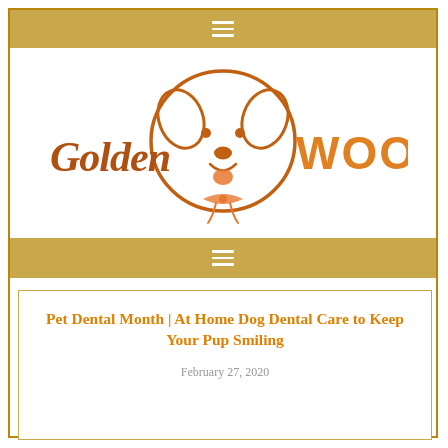[Figure (logo): Golden Woofs logo with cartoon dog face and brand name in brown/orange script]
Pet Dental Month | At Home Dog Dental Care to Keep Your Pup Smiling
February 27, 2020